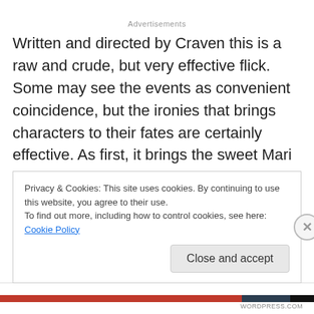Advertisements
Written and directed by Craven this is a raw and crude, but very effective flick. Some may see the events as convenient coincidence, but the ironies that brings characters to their fates are certainly effective. As first, it brings the sweet Mari and her more rambunctious friend into a snake pit where they both cruelly meet deaths they don't deserve and then it delivers those
Privacy & Cookies: This site uses cookies. By continuing to use this website, you agree to their use.
To find out more, including how to control cookies, see here: Cookie Policy
Close and accept